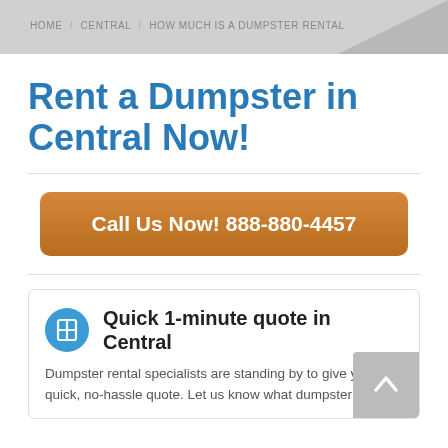HOME / CENTRAL / HOW MUCH IS A DUMPSTER RENTAL
Rent a Dumpster in Central Now!
Call Us Now! 888-880-4457
Quick 1-minute quote in Central
Dumpster rental specialists are standing by to give you a quick, no-hassle quote. Let us know what dumpster size